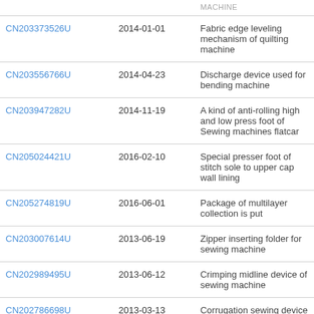|  |  | MACHINE |
| --- | --- | --- |
| CN203373526U | 2014-01-01 | Fabric edge leveling mechanism of quilting machine |
| CN203556766U | 2014-04-23 | Discharge device used for bending machine |
| CN203947282U | 2014-11-19 | A kind of anti-rolling high and low press foot of Sewing machines flatcar |
| CN205024421U | 2016-02-10 | Special presser foot of stitch sole to upper cap wall lining |
| CN205274819U | 2016-06-01 | Package of multilayer collection is put |
| CN203007614U | 2013-06-19 | Zipper inserting folder for sewing machine |
| CN202989495U | 2013-06-12 | Crimping midline device of sewing machine |
| CN202786698U | 2013-03-13 | Corrugation sewing device |